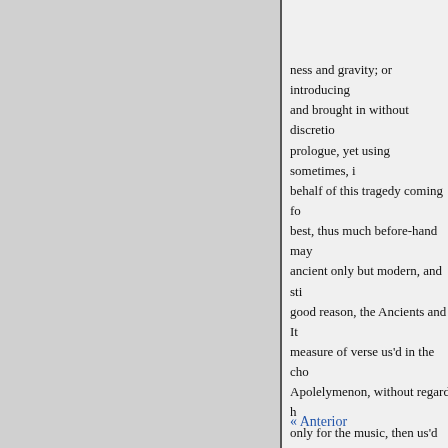ness and gravity; or introducing and brought in without discretion prologue, yet using sometimes, i behalf of this tragedy coming fo best, thus much before-hand may ancient only but modern, and sti good reason, the Ancients and It measure of verse us'd in the cho Apolelymenon, without regard h only for the music, then us'd wit ; or, being divided into stanzas o referring chiefly to the stage (to
It suffices if the whole drama that commonly call'd the plot, w disposition of the fable as may s not unacquainted with Æschylus the best rule to all who endevor t gins and ends, is according to an
« Anterior